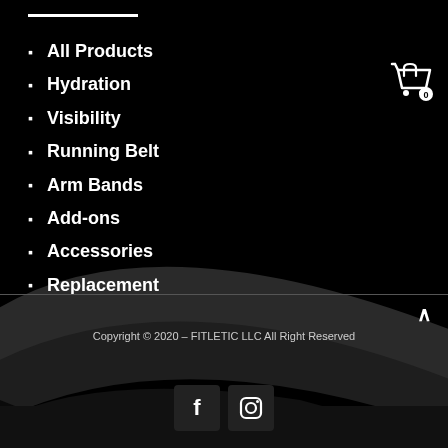[Figure (illustration): Dark background with curved swoosh/ribbon shapes in dark gray creating a dynamic background design]
All Products
Hydration
Visibility
Running Belt
Arm Bands
Add-ons
Accessories
Replacement
Copyright © 2020 – FITLETIC LLC All Right Reserved